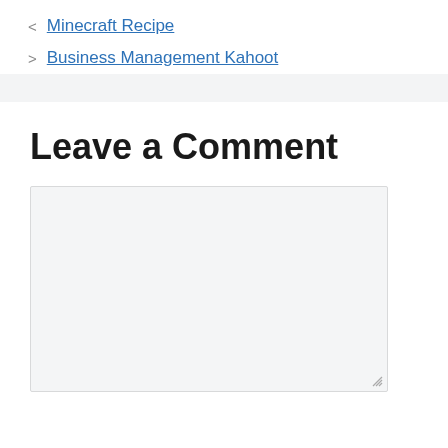< Minecraft Recipe
> Business Management Kahoot
Leave a Comment
[Figure (other): Empty comment textarea input field with resize handle]